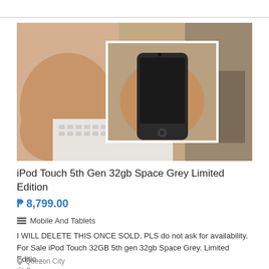[Figure (photo): A hand holding a black iPod Touch 5th Generation device over a laptop keyboard, with a smaller inset photo in the center also showing the device being held. Background shows blurred laptop and other objects.]
iPod Touch 5th Gen 32gb Space Grey Limited Edition
₱ 8,799.00
Mobile And Tablets
I WILL DELETE THIS ONCE SOLD. PLS do not ask for availability. For Sale iPod Touch 32GB 5th gen 32gb Space Grey. Limited Editio...
Quezon City
7 years ago